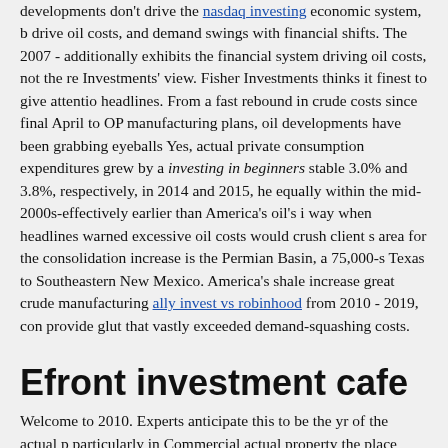developments don't drive the nasdaq investing economic system, b drive oil costs, and demand swings with financial shifts. The 2007 - additionally exhibits the financial system driving oil costs, not the re Investments' view. Fisher Investments thinks it finest to give attentio headlines. From a fast rebound in crude costs since final April to OP manufacturing plans, oil developments have been grabbing eyeballs Yes, actual private consumption expenditures grew by a investing in beginners stable 3.0% and 3.8%, respectively, in 2014 and 2015, he equally within the mid-2000s-effectively earlier than America's oil's i way when headlines warned excessive oil costs would crush client s area for the consolidation increase is the Permian Basin, a 75,000-s Texas to Southeastern New Mexico. America's shale increase great crude manufacturing ally invest vs robinhood from 2010 - 2019, con provide glut that vastly exceeded demand-squashing costs.
Efront investment cafe
Welcome to 2010. Experts anticipate this to be the yr of the actual p particularly in Commercial actual property the place huge hits are on greater. Canada's oil consolidation hits white-collar jobs. Carbon di ambiance hits a report excessive. Amongst greatest holdings in Ha institutional technique is Plano, Texas-based mostly Denbury (DEN